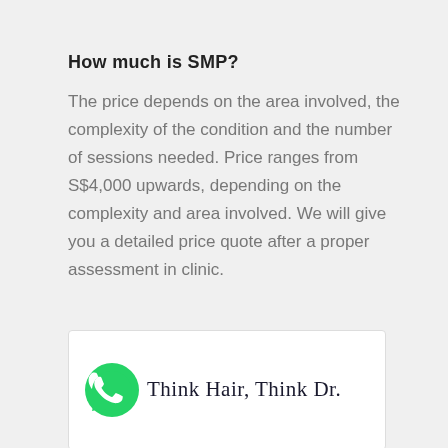How much is SMP?
The price depends on the area involved, the complexity of the condition and the number of sessions needed. Price ranges from S$4,000 upwards, depending on the complexity and area involved. We will give you a detailed price quote after a proper assessment in clinic.
[Figure (logo): WhatsApp icon (green circle with phone handset) alongside the text 'Think Hair, Think Dr.' in serif font]